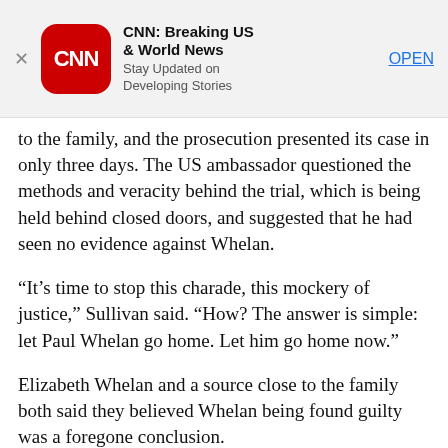[Figure (screenshot): CNN Breaking US & World News app advertisement banner with CNN red rounded square logo, app name, tagline 'Stay Updated on Developing Stories', and OPEN button]
to the family, and the prosecution presented its case in only three days. The US ambassador questioned the methods and veracity behind the trial, which is being held behind closed doors, and suggested that he had seen no evidence against Whelan.
“It’s time to stop this charade, this mockery of justice,” Sullivan said. “How? The answer is simple: let Paul Whelan go home. Let him go home now.”
Elizabeth Whelan and a source close to the family both said they believed Whelan being found guilty was a foregone conclusion.
“There is a pre-determined end to this entire thing, I am positive, and everybody is busy playing their